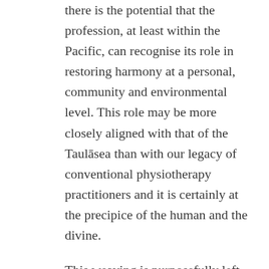there is the potential that the profession, at least within the Pacific, can recognise its role in restoring harmony at a personal, community and environmental level. This role may be more closely aligned with that of the Taulāsea than with our legacy of conventional physiotherapy practitioners and it is certainly at the precipice of the human and the divine.
This weaving is purposefully left open-ended, to invite further strands into the conversation.
Ma le fa'aaloalo lava (With sincere